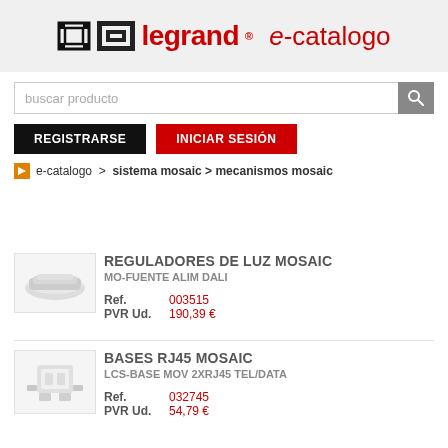legrand e-catalogo
buscar producto
REGISTRARSE   INICIAR SESIÓN
e-catalogo > sistema mosaic > mecanismos mosaic
[Figure (photo): Product photo of Legrand Mosaic DALI power supply unit]
REGULADORES DE LUZ MOSAIC
MO-FUENTE ALIM DALI
Ref. 003515
PVR Ud. 190,39 €
[Figure (photo): Product photo of Legrand LCS-BASE MOV 2XRJ45 TEL/DATA connector]
BASES RJ45 MOSAIC
LCS-BASE MOV 2XRJ45 TEL/DATA
Ref. 032745
PVR Ud. 54,79 €